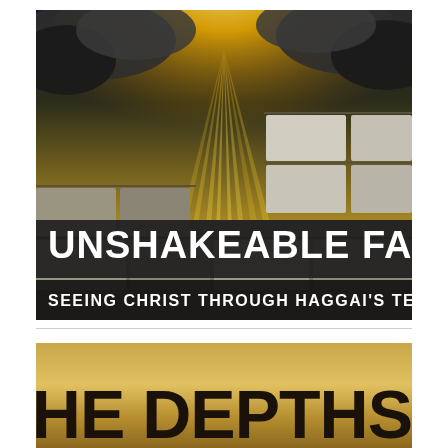[Figure (illustration): Book cover for 'Unshakeable Faith: Seeing Christ Through Haggai's Temple'. Features a dramatic image of sunrays breaking through dark clouds over stone blocks arranged like a wall under construction. Large white bold uppercase title text reads 'UNSHAKEABLE FAITH' and subtitle 'SEEING CHRIST THROUGH HAGGAI'S TEMPLE' on a dark banner.]
[Figure (illustration): Partial book cover for 'Into the Depths' showing a golden/sandy background with large bold dark uppercase text 'INTO THE DEPTHS' partially visible at the bottom of the page.]